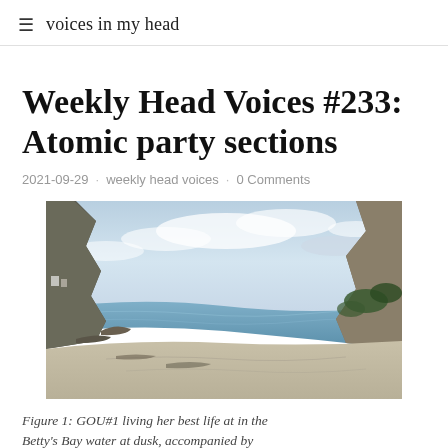≡  voices in my head
Weekly Head Voices #233: Atomic party sections
2021-09-29 · weekly head voices · 0 Comments
[Figure (photo): Panoramic coastal photo of Betty's Bay at dusk, showing a sandy beach cove with rocky outcrops on both sides, calm blue water, and a partly cloudy sky.]
Figure 1: GOU#1 living her best life at in the Betty's Bay water at dusk, accompanied by